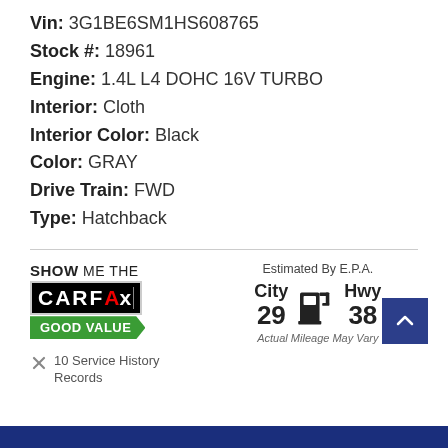Vin: 3G1BE6SM1HS608765
Stock #: 18961
Engine: 1.4L L4 DOHC 16V TURBO
Interior: Cloth
Interior Color: Black
Color: GRAY
Drive Train: FWD
Type: Hatchback
[Figure (logo): SHOW ME THE CARFAX - GOOD VALUE badge]
10 Service History Records
Estimated By E.P.A. City 29 Hwy 38 Actual Mileage May Vary